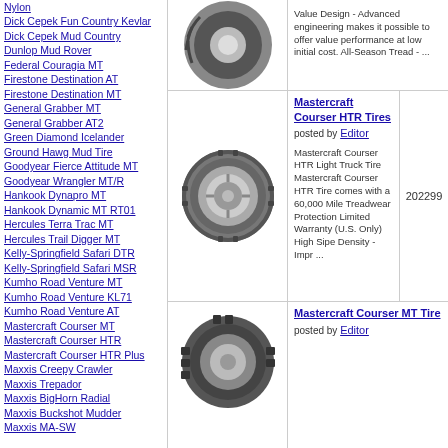Nylon
Dick Cepek Fun Country Kevlar
Dick Cepek Mud Country
Dunlop Mud Rover
Federal Couragia MT
Firestone Destination AT
Firestone Destination MT
General Grabber MT
General Grabber AT2
Green Diamond Icelander
Ground Hawg Mud Tire
Goodyear Fierce Attitude MT
Goodyear Wrangler MT/R
Hankook Dynapro MT
Hankook Dynamic MT RT01
Hercules Terra Trac MT
Hercules Trail Digger MT
Kelly-Springfield Safari DTR
Kelly-Springfield Safari MSR
Kumho Road Venture MT
Kumho Road Venture KL71
Kumho Road Venture AT
Mastercraft Courser MT
Mastercraft Courser HTR
Mastercraft Courser HTR Plus
Maxxis Creepy Crawler
Maxxis Trepador
Maxxis BigHorn Radial
Maxxis Buckshot Mudder
Maxxis MA-SW
[Figure (photo): Tire product photo (top section)]
Value Design - Advanced engineering makes it possible to offer value performance at low initial cost. All-Season Tread - ...
[Figure (photo): Mastercraft Courser HTR tire photo on wheel]
Mastercraft Courser HTR Tires posted by Editor
Mastercraft Courser HTR Light Truck Tire Mastercraft Courser HTR Tire comes with a 60,000 Mile Treadwear Protection Limited Warranty (U.S. Only) High Sipe Density - Impr ...
202299
[Figure (photo): Mastercraft Courser MT tire photo (partial)]
Mastercraft Courser MT Tire posted by Editor